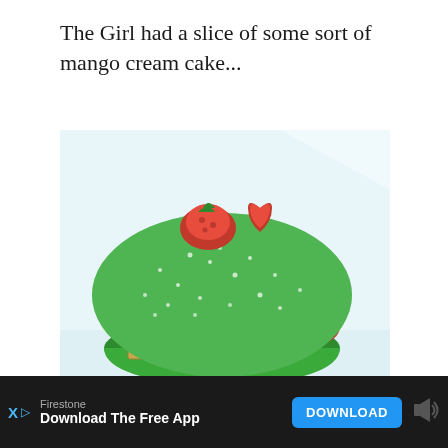The Girl had a slice of some sort of mango cream cake...
[Figure (photo): A green macaron/pastry topped with red raspberries and decorated with white chocolate shards and red berries around the edge, on a light blue-white background.]
And I had a deliciously stuff macaron
Firestone  Download The Free App  DOWNLOAD